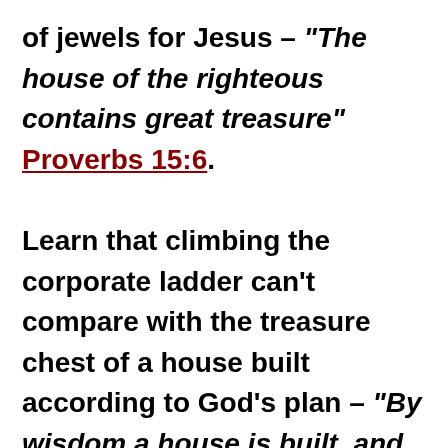of jewels for Jesus – "The house of the righteous contains great treasure" Proverbs 15:6.
Learn that climbing the corporate ladder can't compare with the treasure chest of a house built according to God's plan – "By wisdom a house is built, and through understanding it is established; through knowledge its rooms are filled with rare